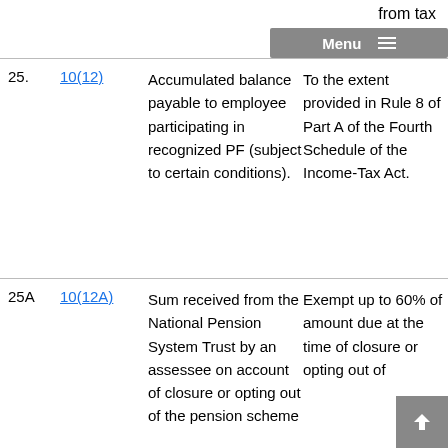from tax
Menu
| # | Section | Nature of Income | Extent of Exemption |
| --- | --- | --- | --- |
| 25. | 10(12) | Accumulated balance payable to employee participating in recognized PF (subject to certain conditions). | To the extent provided in Rule 8 of Part A of the Fourth Schedule of the Income-Tax Act. |
| 25A | 10(12A) | Sum received from the National Pension System Trust by an assessee on account of closure or opting out of the pension scheme | Exempt up to 60% of amount due at the time of closure or opting out of |